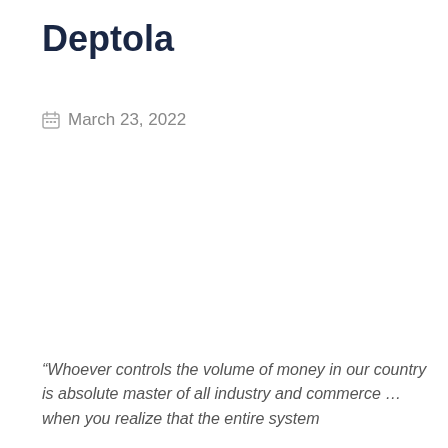Deptola
March 23, 2022
“Whoever controls the volume of money in our country is absolute master of all industry and commerce … when you realize that the entire system